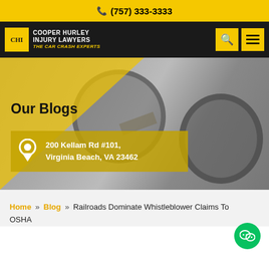(757) 333-3333
[Figure (logo): Cooper Hurley Injury Lawyers logo with yellow CHI badge, white firm name, and gold tagline 'The Car Crash Experts']
[Figure (photo): Hero section with car crash undercarriage photo, yellow triangle overlay, 'Our Blogs' heading, and address box showing '200 Kellam Rd #101, Virginia Beach, VA 23462']
Home » Blog » Railroads Dominate Whistleblower Claims To OSHA